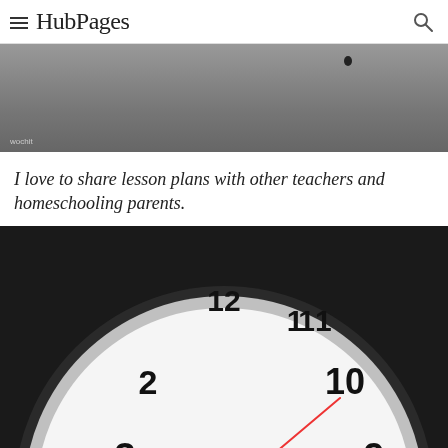HubPages
[Figure (screenshot): Partially visible video/image with dark gray background and wochit watermark at bottom left]
I love to share lesson plans with other teachers and homeschooling parents.
[Figure (photo): Close-up of an analog clock face showing numbers 1, 2, 3, 4, 9, 10, 11, 12, with red second hand and black hour/minute hands]